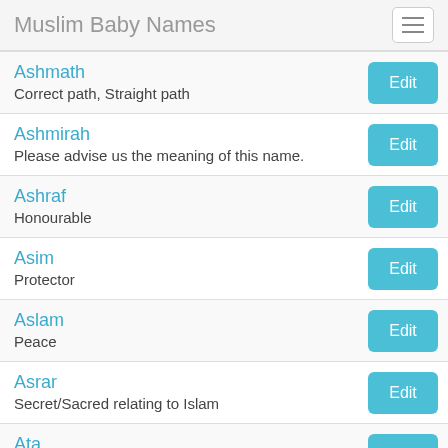Muslim Baby Names
Ashmath
Correct path, Straight path
Ashmirah
Please advise us the meaning of this name.
Ashraf
Honourable
Asim
Protector
Aslam
Peace
Asrar
Secret/Sacred relating to Islam
Ata
Gift, Present